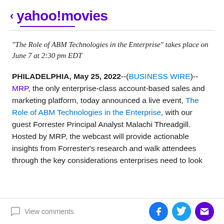< yahoo!movies
“The Role of ABM Technologies in the Enterprise” takes place on June 7 at 2:30 pm EDT
PHILADELPHIA, May 25, 2022--(BUSINESS WIRE)--MRP, the only enterprise-class account-based sales and marketing platform, today announced a live event, The Role of ABM Technologies in the Enterprise, with our guest Forrester Principal Analyst Malachi Threadgill. Hosted by MRP, the webcast will provide actionable insights from Forrester’s research and walk attendees through the key considerations enterprises need to look
View comments